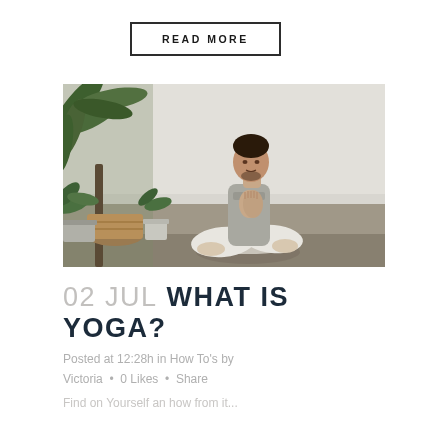READ MORE
[Figure (photo): Man sitting cross-legged in a yoga meditation pose with hands in prayer position, wearing white pants and grey shirt, in a bright room with plants on the left side against a white brick wall]
02 JUL WHAT IS YOGA?
Posted at 12:28h in How To's by Victoria · 0 Likes · Share
Find on Yourself an how from it...